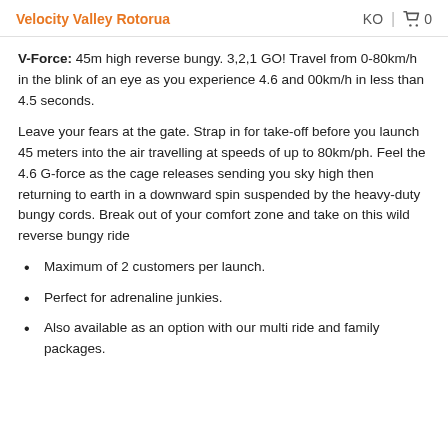Velocity Valley Rotorua | KO 🛒 0
V-Force: 45m high reverse bungy. 3,2,1 GO! Travel from 0-80km/h in the blink of an eye as you experience 4.6 and 00km/h in less than 4.5 seconds.
Leave your fears at the gate. Strap in for take-off before you launch 45 meters into the air travelling at speeds of up to 80km/ph. Feel the 4.6 G-force as the cage releases sending you sky high then returning to earth in a downward spin suspended by the heavy-duty bungy cords. Break out of your comfort zone and take on this wild reverse bungy ride
Maximum of 2 customers per launch.
Perfect for adrenaline junkies.
Also available as an option with our multi ride and family packages.